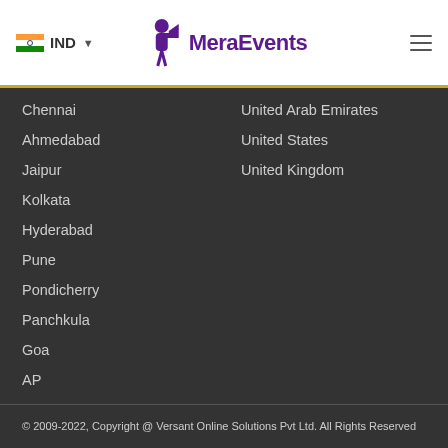IND  MeraEvents
Chennai
Ahmedabad
Jaipur
Kolkata
Hyderabad
Pune
Pondicherry
Panchkula
Goa
AP
United Arab Emirates
United States
United Kingdom
© 2009-2022, Copyright @ Versant Online Solutions Pvt Ltd. All Rights Reserved